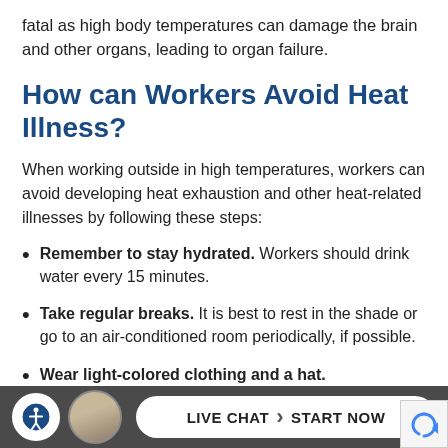fatal as high body temperatures can damage the brain and other organs, leading to organ failure.
How can Workers Avoid Heat Illness?
When working outside in high temperatures, workers can avoid developing heat exhaustion and other heat-related illnesses by following these steps:
Remember to stay hydrated. Workers should drink water every 15 minutes.
Take regular breaks. It is best to rest in the shade or go to an air-conditioned room periodically, if possible.
Wear light-colored clothing and a hat.